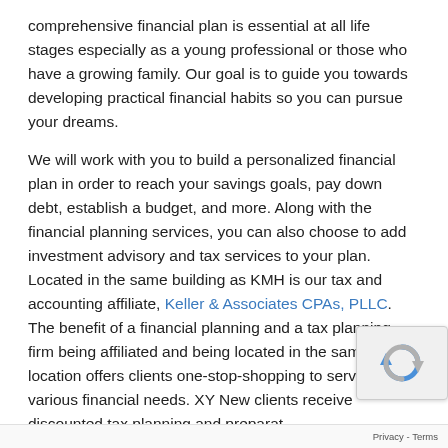comprehensive financial plan is essential at all life stages especially as a young professional or those who have a growing family.  Our goal is to guide you towards developing practical financial habits so you can pursue your dreams.
We will work with you to build a personalized financial plan in order to reach your savings goals, pay down debt, establish a budget, and more.  Along with the financial planning services, you can also choose to add investment advisory and tax services to your plan. Located in the same building as KMH is our tax and accounting affiliate, Keller & Associates CPAs, PLLC. The benefit of a financial planning and a tax planning firm being affiliated and being located in the same location offers clients one-stop-shopping to serve their various financial needs.  XY New clients receive discounted tax planning and preparat
Several of our CFP, CPA, and CFA professionals are under